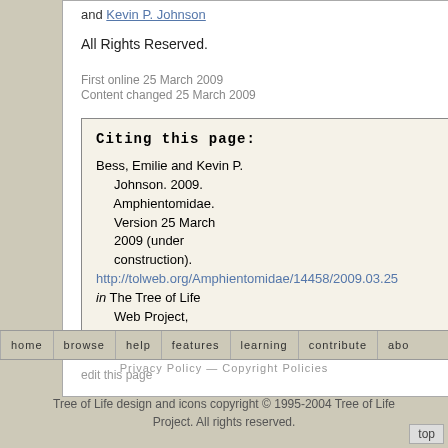and Kevin P. Johnson
All Rights Reserved.
First online 25 March 2009
Content changed 25 March 2009
Citing this page:
Bess, Emilie and Kevin P. Johnson. 2009. Amphientomidae. Version 25 March 2009 (under construction). http://tolweb.org/Amphientomidae/14458/2009.03.25 in The Tree of Life Web Project, http://tolweb.org/
edit this page
home   browse   help   features   learning   contribute   abo
Privacy Policy — Copyright Policies
Tree of Life design and icons copyright © 1995-2004 Tree of Life Project. All rights reserved.